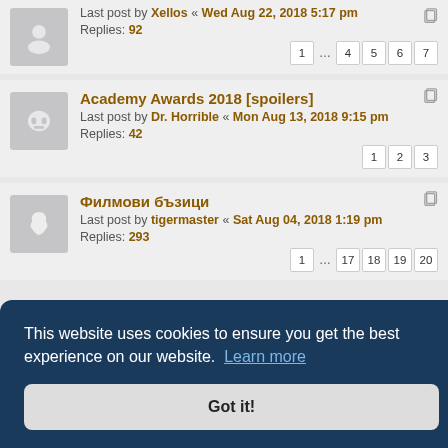Last post by Xellos « Wed Aug 22, 2018 5:17 pm
Replies: 92
Pages: 1 ... 4 5 6 7
Academy Awards 2018 [spoilers]
Last post by Dr. Horrible « Mon Aug 13, 2018 9:15 pm
Replies: 42
Pages: 1 2 3
Филмови бъзици
Last post by tigermaster « Sat Aug 04, 2018 1:19 pm
Replies: 293
Pages: 1 ... 17 18 19 20
This website uses cookies to ensure you get the best experience on our website. Learn more
Got it!
Replies: 64